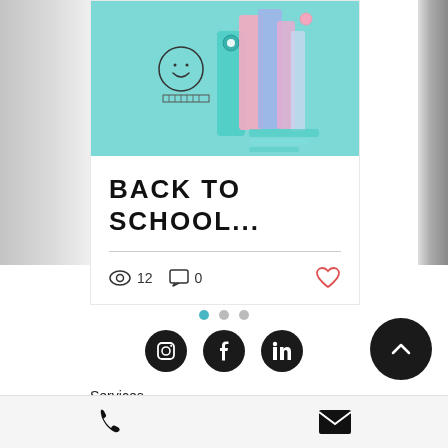[Figure (photo): Blog post card showing a back-to-school themed image with mint/teal background and colorful stationery items in pink, blue, lavender]
BACK TO SCHOOL...
👁 12  💬 0  ♡
[Figure (infographic): Pagination dots: one active teal dot and two grey dots]
[Figure (infographic): Social media icons row: Instagram, Facebook, LinkedIn - all black circles]
[Figure (infographic): Scroll-to-top button: black circle with white upward chevron]
Services
Blog
[Figure (infographic): Footer bar with phone icon and email/envelope icon]